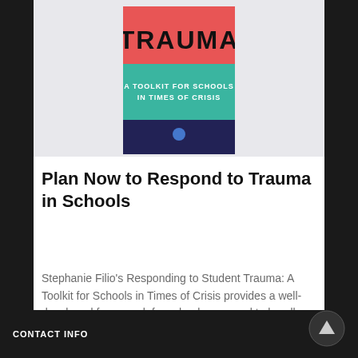[Figure (illustration): Book cover for 'Responding to Student Trauma: A Toolkit for Schools in Times of Crisis' with bold text TRAUMA on cover]
Plan Now to Respond to Trauma in Schools
Stephanie Filio's Responding to Student Trauma: A Toolkit for Schools in Times of Crisis provides a well-developed framework for school personnel to handle four sources of trauma. AP Virginia Hornberger notes it is a good starting point to develop a crisis plan of action.
MiddleWeb
CONTACT INFO